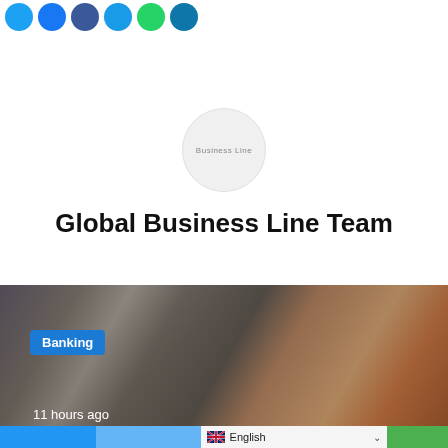[Figure (illustration): Row of social media icon circles at the top of the page in various shades of blue and green]
[Figure (logo): Circular logo placeholder with text 'Business Line' in grey]
Global Business Line Team
[Figure (photo): Photo of a person holding a smartphone outdoors with a 'Banking' tag badge and '11 hours ago' timestamp]
English (language selector with UK flag)